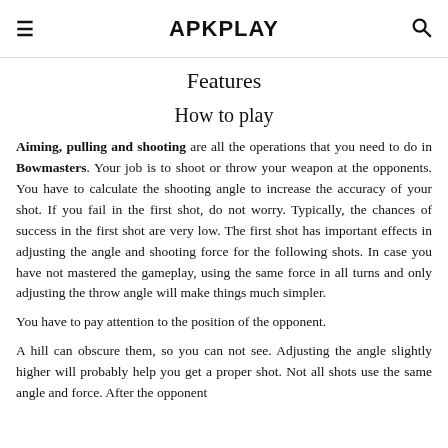APKPLAY
Features
How to play
Aiming, pulling and shooting are all the operations that you need to do in Bowmasters. Your job is to shoot or throw your weapon at the opponents. You have to calculate the shooting angle to increase the accuracy of your shot. If you fail in the first shot, do not worry. Typically, the chances of success in the first shot are very low. The first shot has important effects in adjusting the angle and shooting force for the following shots. In case you have not mastered the gameplay, using the same force in all turns and only adjusting the throw angle will make things much simpler.
You have to pay attention to the position of the opponent.
A hill can obscure them, so you can not see. Adjusting the angle slightly higher will probably help you get a proper shot. Not all shots use the same angle and force. After the opponent